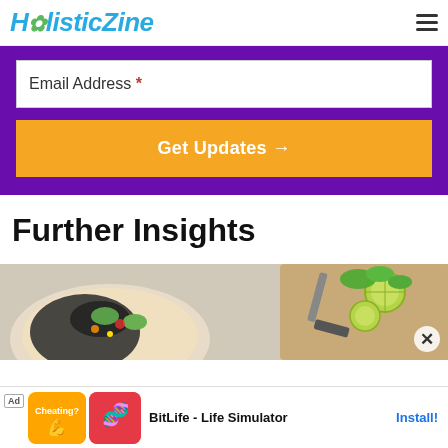HolisticZine
Email Address *
Get Updates →
Further Insights
[Figure (photo): Overhead view of food dishes including a bowl with black beans, greens, and colorful toppings, and a cutting board with limes and herbs]
Ad  BitLife - Life Simulator  Install!